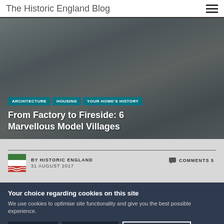The Historic England Blog
[Figure (photo): Black and white photo of a large historic Tudor-style building with half-timbering, multiple chimneys, and steep rooflines. People visible in the foreground.]
ARCHITECTURE / HOUSING / YOUR HOME'S HISTORY
From Factory to Fireside: 6 Marvellous Model Villages
BY HISTORIC ENGLAND
31 AUGUST 2017
COMMENTS 5
Your choice regarding cookies on this site
We use cookies to optimise site functionality and give you the best possible experience.
Accept
I do not accept
Cookie Preferences